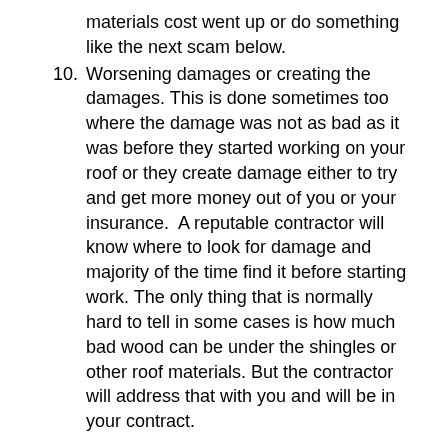materials cost went up or do something like the next scam below.
10. Worsening damages or creating the damages. This is done sometimes too where the damage was not as bad as it was before they started working on your roof or they create damage either to try and get more money out of you or your insurance.  A reputable contractor will know where to look for damage and majority of the time find it before starting work. The only thing that is normally hard to tell in some cases is how much bad wood can be under the shingles or other roof materials. But the contractor will address that with you and will be in your contract.
Nowadays most will report when they have been scammed and by who or will rate that company on some kind of site like Angie’s List, or google reviews and so on. This can make it a little easier to check out that company before you decide to sign, especially in larger cities where there can be many contractors. Smaller towns usually word of mouth gets around and